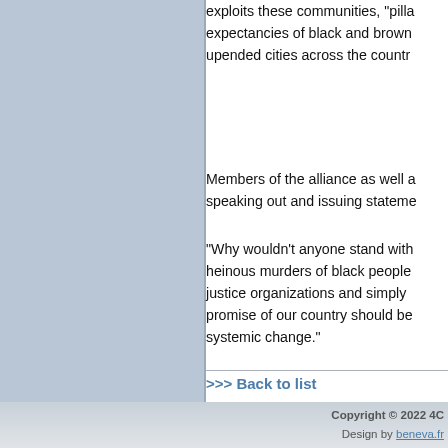exploits these communities, "pilla... expectancies of black and brown... upended cities across the countr...
Members of the alliance as well a... speaking out and issuing stateme...
"Why wouldn't anyone stand with... heinous murders of black people... justice organizations and simply... promise of our country should be... systemic change."
>>> Back to list
Copyright © 2022 4C... Design by beneva.fr